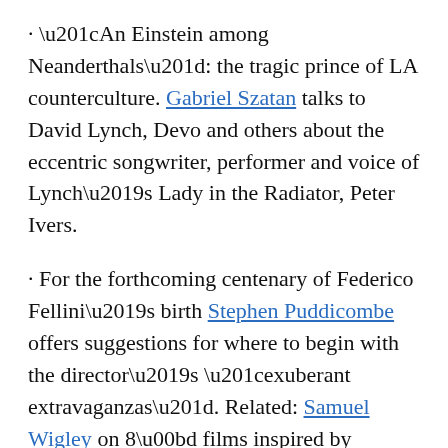· “An Einstein among Neanderthals”: the tragic prince of LA counterculture. Gabriel Szatan talks to David Lynch, Devo and others about the eccentric songwriter, performer and voice of Lynch’s Lady in the Radiator, Peter Ivers.
· For the forthcoming centenary of Federico Fellini’s birth Stephen Puddicombe offers suggestions for where to begin with the director’s “exuberant extravaganzas”. Related: Samuel Wigley on 8½ films inspired by 8½.
· “I met resident Tony Notarberardino for the first time in 2015 and entering his apartment was like crossing into another dimension.”